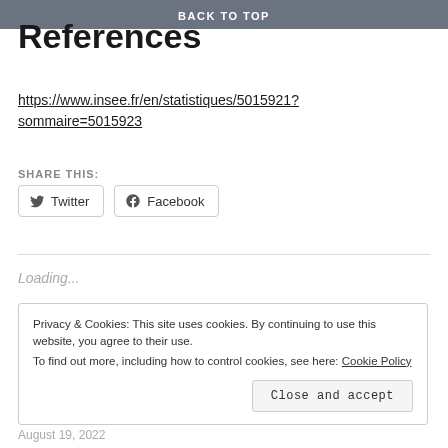BACK TO TOP
References
https://www.insee.fr/en/statistiques/5015921?sommaire=5015923
SHARE THIS:
Twitter   Facebook
Loading...
Privacy & Cookies: This site uses cookies. By continuing to use this website, you agree to their use.
To find out more, including how to control cookies, see here: Cookie Policy
Close and accept
August 19, 2022